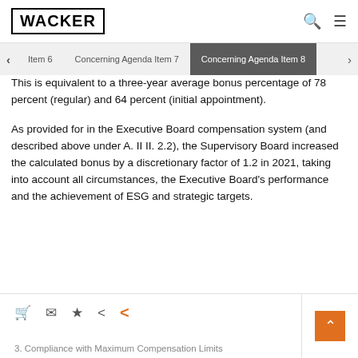WACKER
< Item 6   Concerning Agenda Item 7   Concerning Agenda Item 8   >
This is equivalent to a three-year average bonus percentage of 78 percent (regular) and 64 percent (initial appointment).
As provided for in the Executive Board compensation system (and described above under A. II II. 2.2), the Supervisory Board increased the calculated bonus by a discretionary factor of 1.2 in 2021, taking into account all circumstances, the Executive Board's performance and the achievement of ESG and strategic targets.
3. Compliance with Maximum Compensation Limits